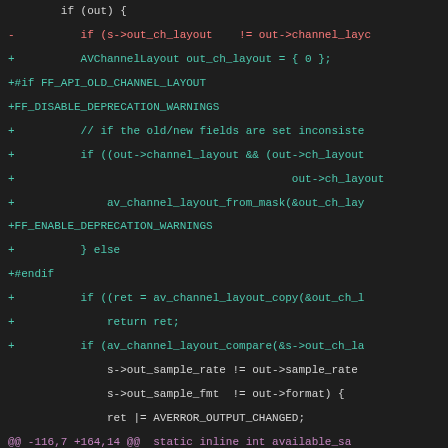Code diff showing FFmpeg channel layout API changes, lines around -116,7 +164,14, static inline int available_sa function